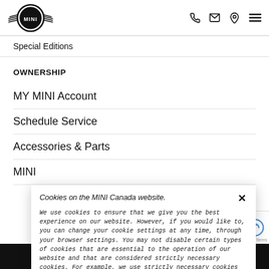MINI logo with phone, email, location, and menu icons
Special Editions
OWNERSHIP
MY MINI Account
Schedule Service
Accessories & Parts
MINI
Cookies on the MINI Canada website.

We use cookies to ensure that we give you the best experience on our website. However, if you would like to, you can change your cookie settings at any time, through your browser settings. You may not disable certain types of cookies that are essential to the operation of our website and that are considered strictly necessary cookies. For example, we use strictly necessary cookies to provide you with regional pricing information. You can find detailed information about how cookies are used on this website by clicking here.